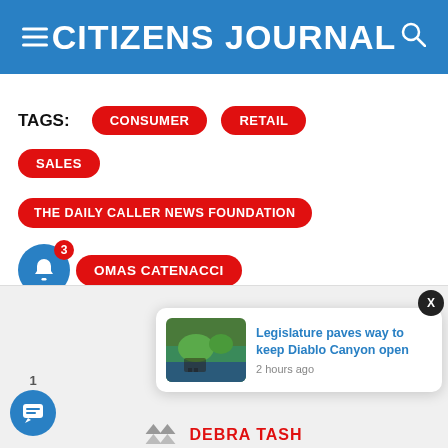CITIZENS JOURNAL
TAGS: CONSUMER  RETAIL
SALES
THE DAILY CALLER NEWS FOUNDATION
THOMAS CATENACCI
[Figure (screenshot): Notification popup card with thumbnail image of Diablo Canyon. Headline: Legislature paves way to keep Diablo Canyon open. Time: 2 hours ago. Close X button in top right corner.]
DEBRA TASH